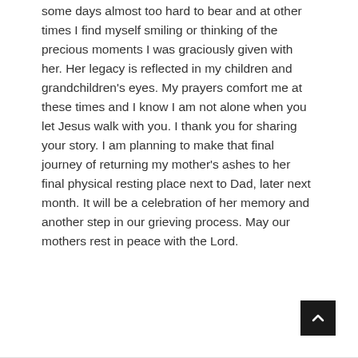some days almost too hard to bear and at other times I find myself smiling or thinking of the precious moments I was graciously given with her. Her legacy is reflected in my children and grandchildren's eyes. My prayers comfort me at these times and I know I am not alone when you let Jesus walk with you. I thank you for sharing your story. I am planning to make that final journey of returning my mother's ashes to her final physical resting place next to Dad, later next month. It will be a celebration of her memory and another step in our grieving process. May our mothers rest in peace with the Lord.
Reply